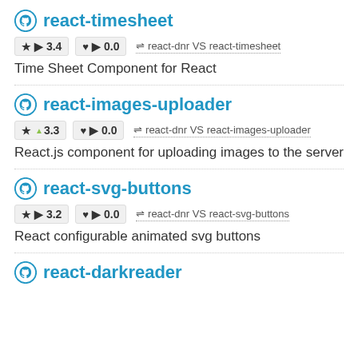react-timesheet
★ ▶ 3.4   ♥ ▶ 0.0   ⇌ react-dnr VS react-timesheet
Time Sheet Component for React
react-images-uploader
★ ▲ 3.3   ♥ ▶ 0.0   ⇌ react-dnr VS react-images-uploader
React.js component for uploading images to the server
react-svg-buttons
★ ▶ 3.2   ♥ ▶ 0.0   ⇌ react-dnr VS react-svg-buttons
React configurable animated svg buttons
react-darkreader